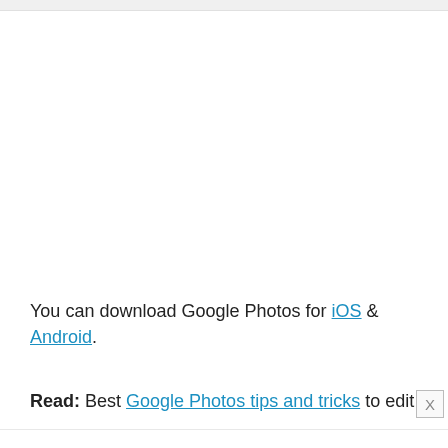You can download Google Photos for iOS & Android.
Read: Best Google Photos tips and tricks to edit